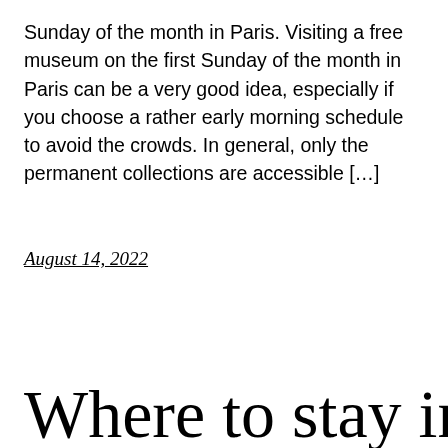Sunday of the month in Paris. Visiting a free museum on the first Sunday of the month in Paris can be a very good idea, especially if you choose a rather early morning schedule to avoid the crowds. In general, only the permanent collections are accessible […]
August 14, 2022
Where to stay in Paris